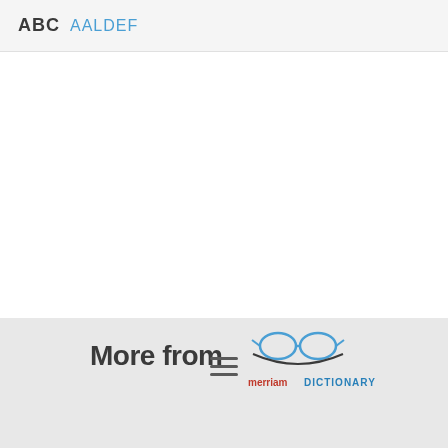ABC  AALDEF
[Figure (logo): Merriam-Webster Dictionary logo with glasses and text 'Merriam-DICTIONARY']
More from